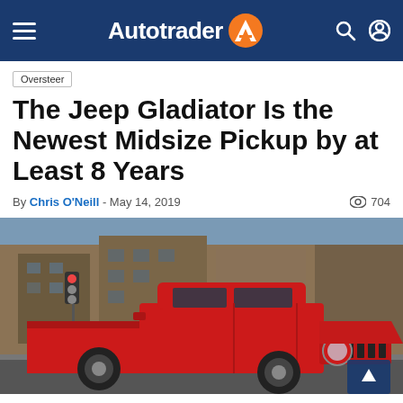Autotrader
Oversteer
The Jeep Gladiator Is the Newest Midsize Pickup by at Least 8 Years
By Chris O'Neill - May 14, 2019  704
[Figure (photo): Red Jeep Gladiator pickup truck parked on a city street with buildings in the background]